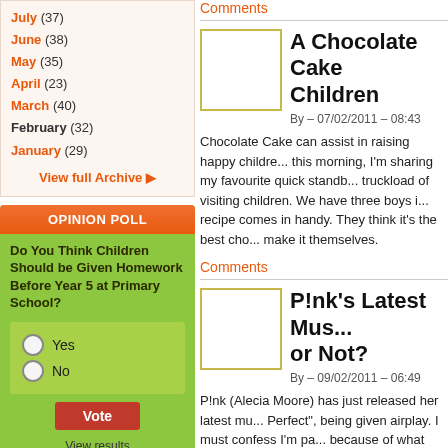July (37)
June (38)
May (35)
April (23)
March (40)
February (32)
January (29)
View full Archive ▶
OPINION POLL
Do You Think Children Should be Given Homework Before Year 5 at Primary School?
Yes
No
Vote
View results without voting
Comments
A Chocolate Cake for Children
By – 07/02/2011 – 08:43
Chocolate Cake can assist in raising happy childre... this morning, I'm sharing my favourite quick standb... truckload of visiting children. We have three boys i... recipe comes in handy. They think it's the best cho... make it themselves.
Comments
P!nk's Latest Mus... or Not?
By – 09/02/2011 – 06:49
P!nk (Alecia Moore) has just released her latest mu... Perfect", being given airplay. I must confess I'm pa... because of what she represents and stands for, an...